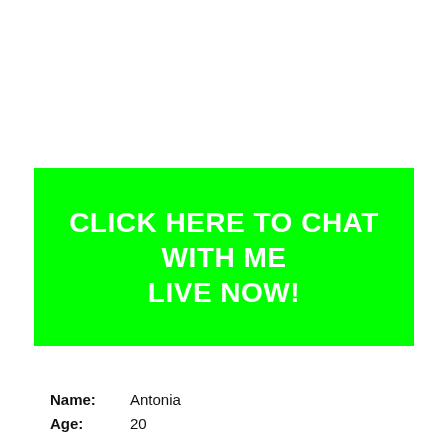[Figure (infographic): Green banner button with white bold uppercase text: CLICK HERE TO CHAT WITH ME LIVE NOW!]
Name: Antonia
Age: 20